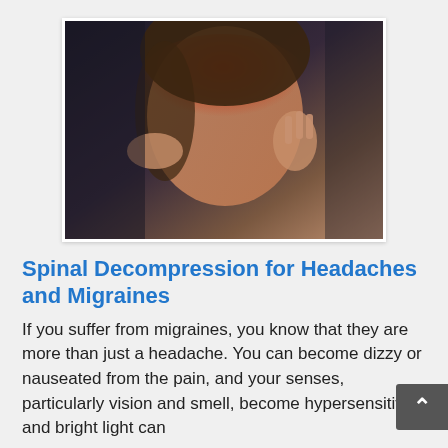[Figure (photo): Woman with migraine holding her head with both hands, a red glow overlay on her forehead indicating pain, against a dark background]
Spinal Decompression for Headaches and Migraines
If you suffer from migraines, you know that they are more than just a headache. You can become dizzy or nauseated from the pain, and your senses, particularly vision and smell, become hypersensitive, and bright light can